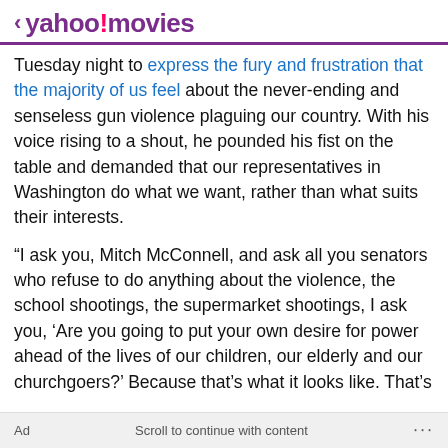< yahoo!movies
Tuesday night to express the fury and frustration that the majority of us feel about the never-ending and senseless gun violence plaguing our country. With his voice rising to a shout, he pounded his fist on the table and demanded that our representatives in Washington do what we want, rather than what suits their interests.
“I ask you, Mitch McConnell, and ask all you senators who refuse to do anything about the violence, the school shootings, the supermarket shootings, I ask you, ‘Are you going to put your own desire for power ahead of the lives of our children, our elderly and our churchgoers?’ Because that’s what it looks like. That’s what we do every week,” Kerr said. “I’m fed up. I’ve had enough.
Ad   Scroll to continue with content   ...